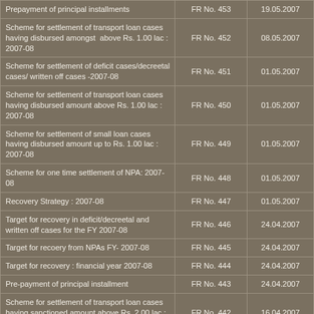|  | FR No. | Date |
| --- | --- | --- |
| Prepayment of principal installments | FR No. 453 | 19.05.2007 |
| Scheme for settlement of transport loan cases having disbursed amongst  above Rs. 1.00 lac : 2007-08 | FR No. 452 | 08.05.2007 |
| Scheme for settlement of deficit cases/decreetal cases/ written off cases -2007-08 | FR No. 451 | 01.05.2007 |
| Scheme for settlement of transport loan cases having disbursed amount above Rs. 1.00 lac : 2007-08 | FR No. 450 | 01.05.2007 |
| Scheme for settlement of small loan cases having disbursed amount up to Rs. 1.00 lac : 2007-08 | FR No. 449 | 01.05.2007 |
| Scheme for one time settlement of NPA: 2007-08 | FR No. 448 | 01.05.2007 |
| Recovery Strategy : 2007-08 | FR No. 447 | 01.05.2007 |
| Target for recovery in deficit/decreetal and written off cases for the FY 2007-08 | FR No. 446 | 24.04.2007 |
| Target for recoery from NPAs FY- 2007-08 | FR No. 445 | 24.04.2007 |
| Target for recovery : financial year 2007-08 | FR No. 444 | 24.04.2007 |
| Pre-payment of principal installment | FR No. 443 | 24.04.2007 |
| Scheme for settlement of transport loan cases having sanctioned amount above Rs. 2.00 lac : 2006-07 | FR No. 442 | 16.04.2007 |
| Writing off/writing back of the amount irrecoverable during the FY 2006-07 | FR No. 441 | 12.04.2007 |
| Charging rate of interest in the cases settled by empowered settlement committee | FR No. 440 | 09.04.2007 |